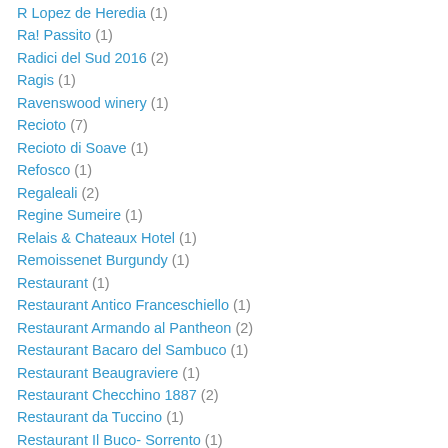R Lopez de Heredia (1)
Ra! Passito (1)
Radici del Sud 2016 (2)
Ragis (1)
Ravenswood winery (1)
Recioto (7)
Recioto di Soave (1)
Refosco (1)
Regaleali (2)
Regine Sumeire (1)
Relais & Chateaux Hotel (1)
Remoissenet Burgundy (1)
Restaurant (1)
Restaurant Antico Franceschiello (1)
Restaurant Armando al Pantheon (2)
Restaurant Bacaro del Sambuco (1)
Restaurant Beaugraviere (1)
Restaurant Checchino 1887 (2)
Restaurant da Tuccino (1)
Restaurant Il Buco- Sorrento (1)